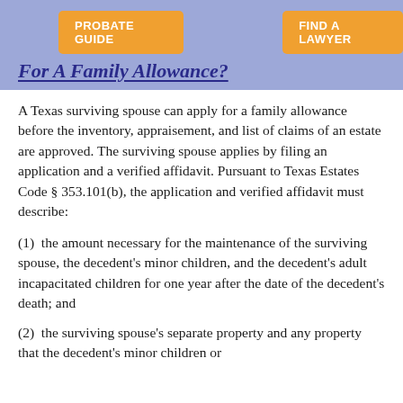How Can A Surviving Spouse Apply For A Family Allowance?
A Texas surviving spouse can apply for a family allowance before the inventory, appraisement, and list of claims of an estate are approved.  The surviving spouse applies by filing an application and a verified affidavit.  Pursuant to Texas Estates Code § 353.101(b), the application and verified affidavit must describe:
(1)  the amount necessary for the maintenance of the surviving spouse, the decedent’s minor children, and the decedent’s adult incapacitated children for one year after the date of the decedent’s death; and
(2)  the surviving spouse’s separate property and any property that the decedent’s minor children or